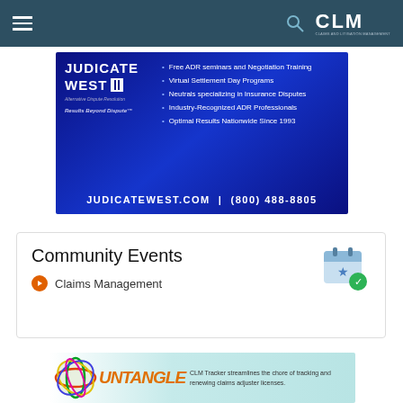CLM
[Figure (infographic): Judicate West advertisement banner on dark blue background. Left side shows Judicate West logo and 'Alternative Dispute Resolution - Results Beyond Dispute'. Right side bullet points: Free ADR seminars and Negotiation Training, Virtual Settlement Day Programs, Neutrals specializing in Insurance Disputes, Industry-Recognized ADR Professionals, Optimal Results Nationwide Since 1993. Footer: JUDICATEWEST.COM | (800) 488-8805]
Community Events
Claims Management
[Figure (infographic): CLM Tracker advertisement. Left shows colorful tangled rubber bands image. Center shows 'UNTANGLE' in orange italic text. Right text reads: CLM Tracker streamlines the chore of tracking and renewing claims adjuster licenses.]